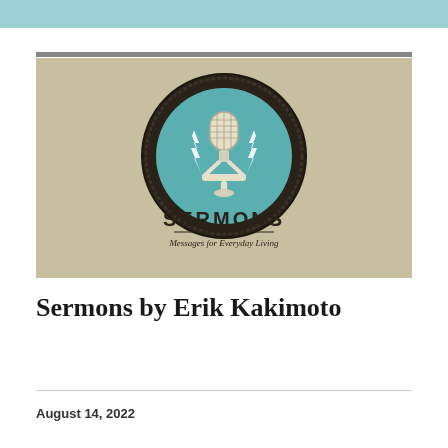[Figure (illustration): Sermon podcast logo: a vintage microphone centered in a teal circle, surrounded by a dark circular stamp border with lightning bolt graphics. Below the circle, text reads SERMONS in bold uppercase, with a horizontal rule, and beneath that 'Messages for Everyday Living' in smaller text. Background is a warm beige/tan color.]
Sermons by Erik Kakimoto
August 14, 2022